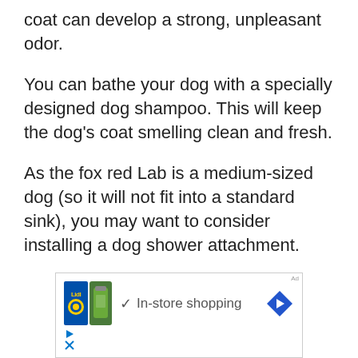coat can develop a strong, unpleasant odor.
You can bathe your dog with a specially designed dog shampoo. This will keep the dog's coat smelling clean and fresh.
As the fox red Lab is a medium-sized dog (so it will not fit into a standard sink), you may want to consider installing a dog shower attachment.
[Figure (other): Advertisement banner showing Lidl store logo, a green product jar, a checkmark with 'In-store shopping' text, and a blue diamond navigation arrow icon. Below are play and close control buttons.]